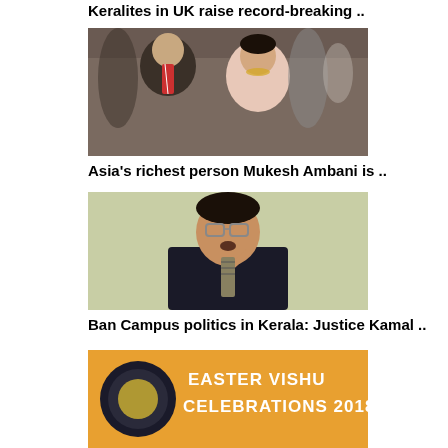Keralites in UK raise record-breaking ..
[Figure (photo): Photo of Mukesh Ambani and a woman in a pink saree at an event]
Asia's richest person Mukesh Ambani is ..
[Figure (photo): Photo of a man in a suit with glasses pointing finger, speaking]
Ban Campus politics in Kerala: Justice Kamal ..
[Figure (photo): Easter Vishu Celebrations 2018 banner with logo]